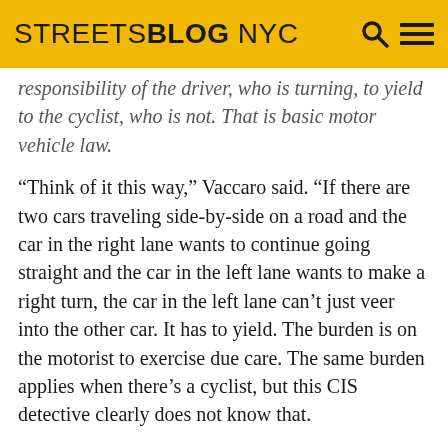STREETSBLOG NYC
responsibility of the driver, who is turning, to yield to the cyclist, who is not. That is basic motor vehicle law.
“Think of it this way,” Vaccaro said. “If there are two cars traveling side-by-side on a road and the car in the right lane wants to continue going straight and the car in the left lane wants to make a right turn, the car in the left lane can’t just veer into the other car. It has to yield. The burden is on the motorist to exercise due care. The same burden applies when there’s a cyclist, but this CIS detective clearly does not know that.
“Mario was not at fault,” Vaccaro continued. “He had the right of way to proceed straight through the intersection. This is one of the worst cases of a